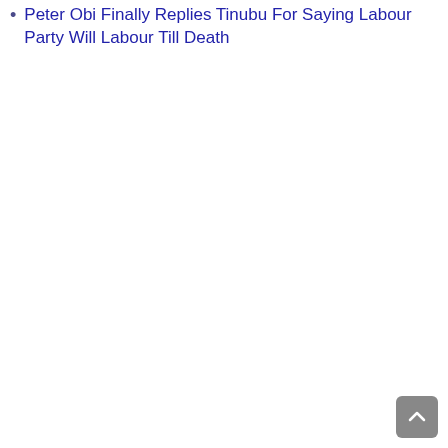Peter Obi Finally Replies Tinubu For Saying Labour Party Will Labour Till Death